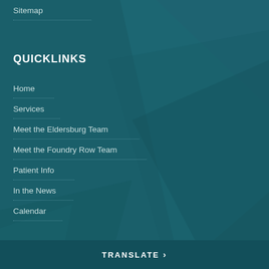Sitemap
QUICKLINKS
Home
Services
Meet the Eldersburg Team
Meet the Foundry Row Team
Patient Info
In the News
Calendar
TRANSLATE >